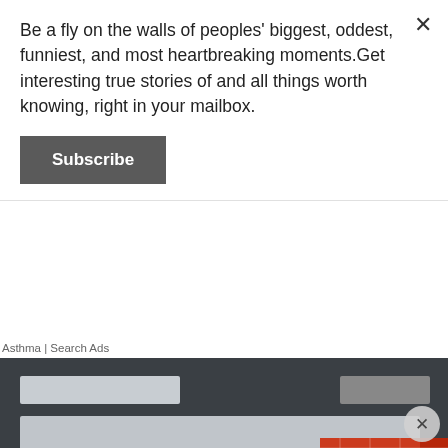Be a fly on the walls of peoples' biggest, oddest, funniest, and most heartbreaking moments.Get interesting true stories of and all things worth knowing, right in your mailbox.
Subscribe
Asthma | Search Ads
[Figure (photo): Person holding an open black wallet in front of an ATM machine, wearing a red plaid shirt. The ATM screen and card slot are visible in the background.]